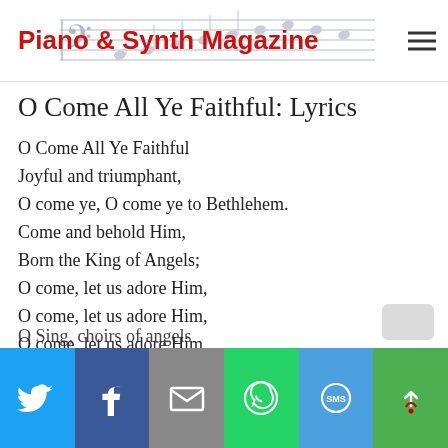Piano & Synth Magazine
O Come All Ye Faithful: Lyrics
O Come All Ye Faithful
Joyful and triumphant,
O come ye, O come ye to Bethlehem.
Come and behold Him,
Born the King of Angels;
O come, let us adore Him,
O come, let us adore Him,
O come, let us adore Him,
Christ the Lord.
O Sing, choirs of angels
[Figure (infographic): Social share bar with Twitter, Facebook, Email, WhatsApp, SMS, and More buttons]